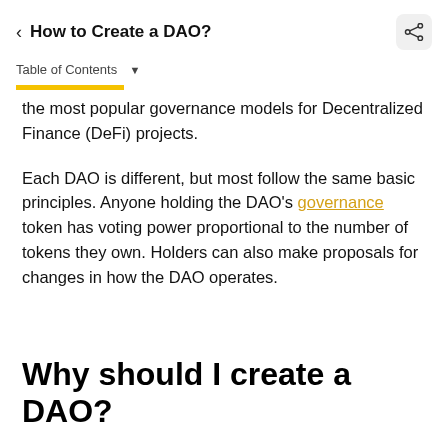How to Create a DAO?
Table of Contents
the most popular governance models for Decentralized Finance (DeFi) projects.
Each DAO is different, but most follow the same basic principles. Anyone holding the DAO's governance token has voting power proportional to the number of tokens they own. Holders can also make proposals for changes in how the DAO operates.
Why should I create a DAO?